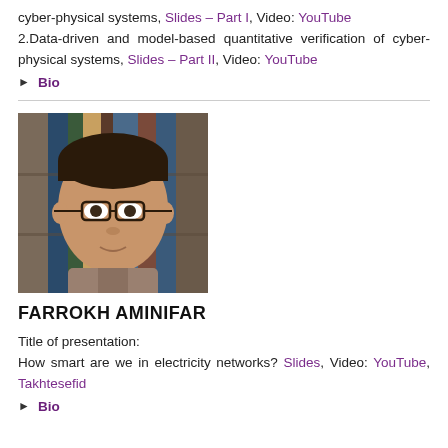cyber-physical systems, Slides – Part I, Video: YouTube 2.Data-driven and model-based quantitative verification of cyber-physical systems, Slides – Part II, Video: YouTube
▶ Bio
[Figure (photo): Headshot of Farrokh Aminifar, a man with glasses in front of a bookshelf]
FARROKH AMINIFAR
Title of presentation:
How smart are we in electricity networks? Slides, Video: YouTube, Takhtesefid
▶ Bio